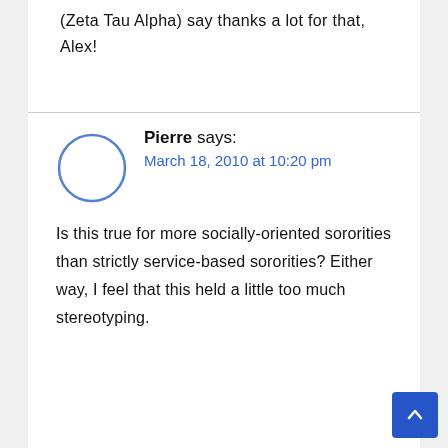(Zeta Tau Alpha) say thanks a lot for that, Alex!
Pierre says:
March 18, 2010 at 10:20 pm

Is this true for more socially-oriented sororities than strictly service-based sororities? Either way, I feel that this held a little too much stereotyping.